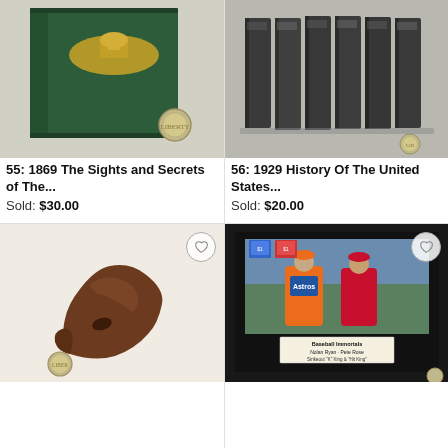[Figure (photo): Green hardcover book with gold Capitol building emblem, with a quarter coin beside it. Lot 55.]
55: 1869 The Sights and Secrets of The...
Sold: $30.00
[Figure (photo): Set of six dark grey/charcoal hardcover volumes labeled History of The United States, with a quarter coin beside them. Lot 56.]
56: 1929 History Of The United States...
Sold: $20.00
[Figure (photo): Brown antique iron or wooden curved tool/shoe last with a quarter coin beside it, on white background.]
[Figure (photo): Framed baseball memorabilia showing Nolan Ryan and Pete Rose (Baseball Immortals - Nolan Ryan, Pete Rose, Strikeout 'K' King & 'Hit King') with stamps and autographed photo, on black matting.]